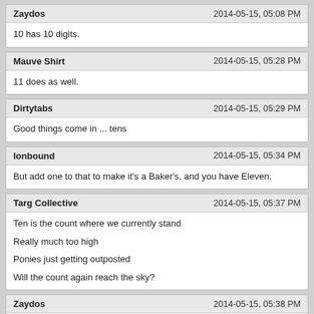Zaydos | 2014-05-15, 05:08 PM
10 has 10 digits.
Mauve Shirt | 2014-05-15, 05:28 PM
11 does as well.
Dirtytabs | 2014-05-15, 05:29 PM
Good things come in ... tens
Ionbound | 2014-05-15, 05:34 PM
But add one to that to make it's a Baker's, and you have Eleven.
Targ Collective | 2014-05-15, 05:37 PM
Ten is the count where we currently stand
Really much too high
Ponies just getting outposted
Will the count again reach the sky?
Zaydos | 2014-05-15, 05:38 PM
Eleven is more than I can count to on my fingers without resorting to trickery and shenanigans.